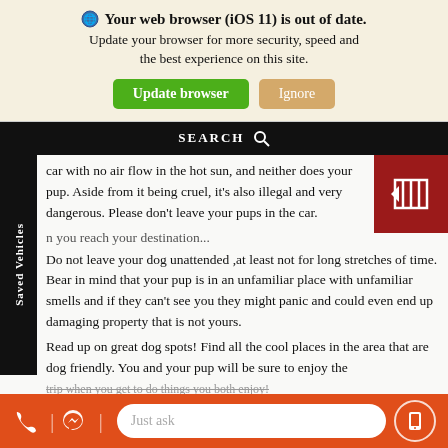🌐 Your web browser (iOS 11) is out of date. Update your browser for more security, speed and the best experience on this site.
Update browser | Ignore
SEARCH 🔍
car with no air flow in the hot sun, and neither does your pup. Aside from it being cruel, it's also illegal and very dangerous. Please don't leave your pups in the car.
n you reach your destination...
Do not leave your dog unattended ,at least not for long stretches of time. Bear in mind that your pup is in an unfamiliar place with unfamiliar smells and if they can't see you they might panic and could even end up damaging property that is not yours.
Read up on great dog spots! Find all the cool places in the area that are dog friendly. You and your pup will be sure to enjoy the trip when you get to do things you both enjoy!
Just ask